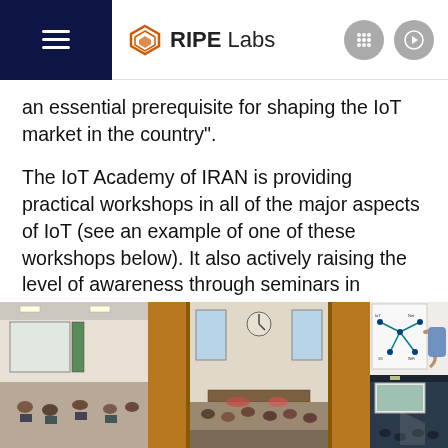RIPE Labs
an essential prerequisite for shaping the IoT market in the country".
The IoT Academy of IRAN is providing practical workshops in all of the major aspects of IoT (see an example of one of these workshops below). It also actively raising the level of awareness through seminars in schools and universities.
[Figure (photo): Three workshop photos side by side: left shows students at computers in a classroom, center shows a lecture hall with attendees and curtains, right shows someone writing a network diagram on a whiteboard and a bottom-right inset of a classroom with a projector screen.]